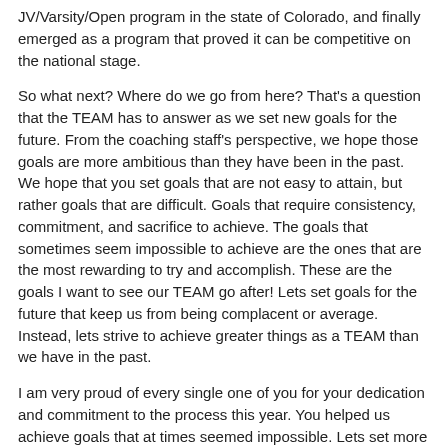JV/Varsity/Open program in the state of Colorado, and finally emerged as a program that proved it can be competitive on the national stage.
So what next? Where do we go from here? That's a question that the TEAM has to answer as we set new goals for the future. From the coaching staff's perspective, we hope those goals are more ambitious than they have been in the past. We hope that you set goals that are not easy to attain, but rather goals that are difficult. Goals that require consistency, commitment, and sacrifice to achieve. The goals that sometimes seem impossible to achieve are the ones that are the most rewarding to try and accomplish. These are the goals I want to see our TEAM go after! Lets set goals for the future that keep us from being complacent or average. Instead, lets strive to achieve greater things as a TEAM than we have in the past.
I am very proud of every single one of you for your dedication and commitment to the process this year. You helped us achieve goals that at times seemed impossible. Lets set more ambitious goals for the future of our TEAM, and focus on the process that will help us get there!